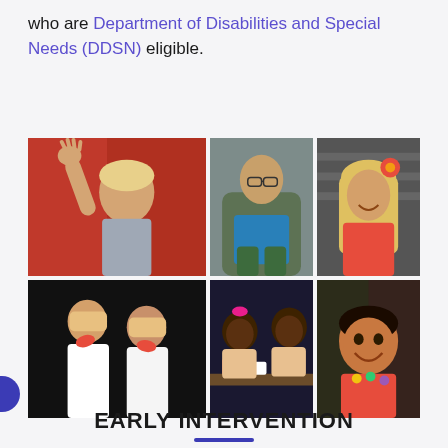who are Department of Disabilities and Special Needs (DDSN) eligible.
[Figure (photo): A collage of six photographs showing children and a young adult with disabilities: a child raising their hand in front of a red background, a young man sitting in a green chair wearing a blue shirt, a smiling girl with a flower accessory, two young girls standing together in white dresses, two young children playing at a table, and a small child smiling at the camera.]
EARLY INTERVENTION